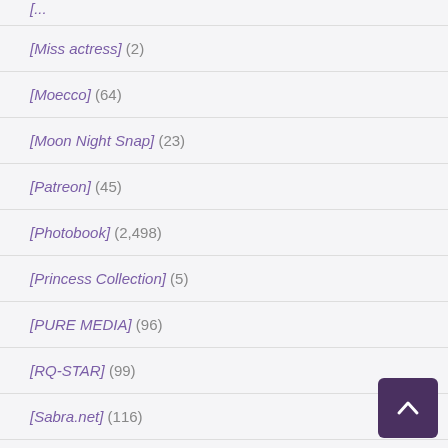[Miss actress] (2)
[Moecco] (64)
[Moon Night Snap] (23)
[Patreon] (45)
[Photobook] (2,498)
[Princess Collection] (5)
[PURE MEDIA] (96)
[RQ-STAR] (99)
[Sabra.net] (116)
[SaintPhotolife] (40)
[SILLY] (42)